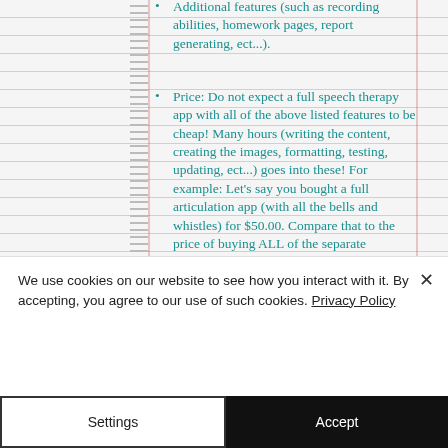Additional features (such as recording abilities, homework pages, report generating, ect...).
Price: Do not expect a full speech therapy app with all of the above listed features to be cheap! Many hours (writing the content, creating the images, formatting, testing, updating, ect...) goes into these! For example: Let's say you bought a full articulation app (with all the bells and whistles) for $50.00. Compare that to the price of buying ALL of the separate articulation card decks + additional games, you would be looking at at price tag of over
We use cookies on our website to see how you interact with it. By accepting, you agree to our use of such cookies. Privacy Policy
Settings | Accept